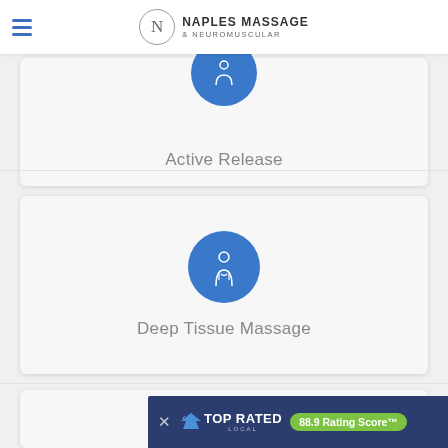Naples Massage & Neuromuscular
[Figure (illustration): Service card with blue circle icon for Active Release technique]
Active Release
[Figure (illustration): Service card with blue circle showing person/body icon for Deep Tissue Massage]
Deep Tissue Massage
[Figure (illustration): Top Rated Local banner overlay with 88.9 Rating Score badge]